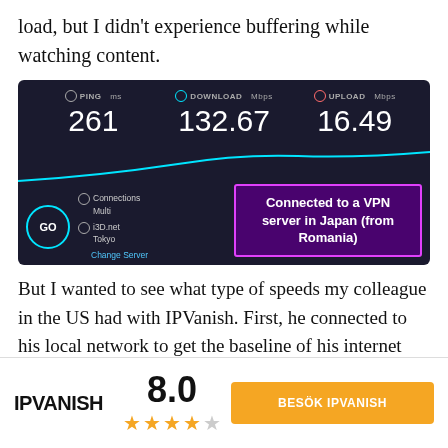load, but I didn't experience buffering while watching content.
[Figure (screenshot): Speed test screenshot showing PING 261 ms, DOWNLOAD 132.67 Mbps, UPLOAD 16.49 Mbps, with GO button, Connections Multi, i3D.net Tokyo, Change Server, and an overlay box saying 'Connected to a VPN server in Japan (from Romania)']
But I wanted to see what type of speeds my colleague in the US had with IPVanish. First, he connected to his local network to get the baseline of his internet speed.
[Figure (logo): IPVanish logo with rating 8.0, 4 stars out of 5, and a button 'BESÖK IPVANISH']